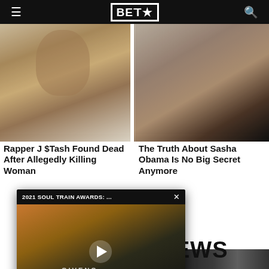BET★
[Figure (photo): Close-up portrait photo of a young Black man in a white shirt]
[Figure (photo): Close-up portrait photo of a young Black woman wearing round glasses]
Rapper J $Tash Found Dead After Allegedly Killing Woman
The Truth About Sasha Obama Is No Big Secret Anymore
[Figure (screenshot): Video popup overlay showing a person in a Givenchy hoodie with the title '2021 SOUL TRAIN AWARDS: ...']
EWS
[Figure (photo): People standing outside at night with police lights in the background]